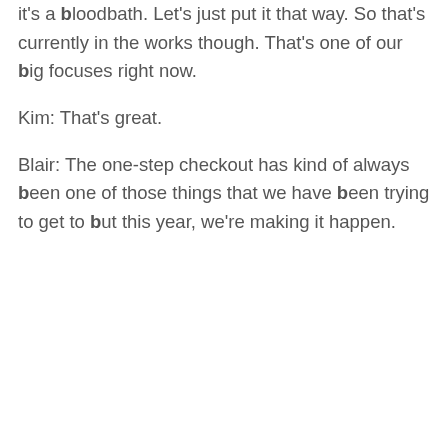it's a bloodbath. Let's just put it that way. So that's currently in the works though. That's one of our big focuses right now.
Kim: That's great.
Blair: The one-step checkout has kind of always been one of those things that we have been trying to get to but this year, we're making it happen.